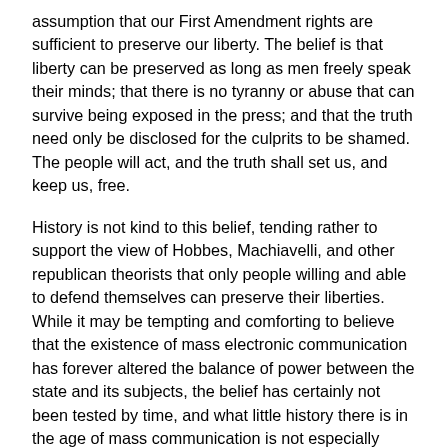assumption that our First Amendment rights are sufficient to preserve our liberty. The belief is that liberty can be preserved as long as men freely speak their minds; that there is no tyranny or abuse that can survive being exposed in the press; and that the truth need only be disclosed for the culprits to be shamed. The people will act, and the truth shall set us, and keep us, free.
History is not kind to this belief, tending rather to support the view of Hobbes, Machiavelli, and other republican theorists that only people willing and able to defend themselves can preserve their liberties. While it may be tempting and comforting to believe that the existence of mass electronic communication has forever altered the balance of power between the state and its subjects, the belief has certainly not been tested by time, and what little history there is in the age of mass communication is not especially encouraging. The camera, radio, and press are mere tools and, like guns, can be used for good or ill. Hitler, after all, was a masterful orator, used radio to very good effect, and is well known to have pioneered and exploited the propaganda opportunities afforded by film. And then, of course, there were the